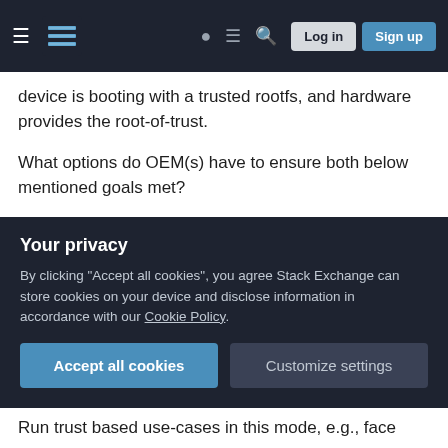Stack Exchange navigation bar with hamburger menu, logo, help, chat, search icons, Log in and Sign up buttons
device is booting with a trusted rootfs, and hardware provides the root-of-trust.
What options do OEM(s) have to ensure both below mentioned goals met?
1. Allow users to run their own modified versions of FOSS packages.
2. Ensure that the trust model of the product is met.
Can OEM take the following approach of
Your privacy
By clicking "Accept all cookies", you agree Stack Exchange can store cookies on your device and disclose information in accordance with our Cookie Policy.
Accept all cookies
Customize settings
Run trust based use-cases in this mode, e.g., face